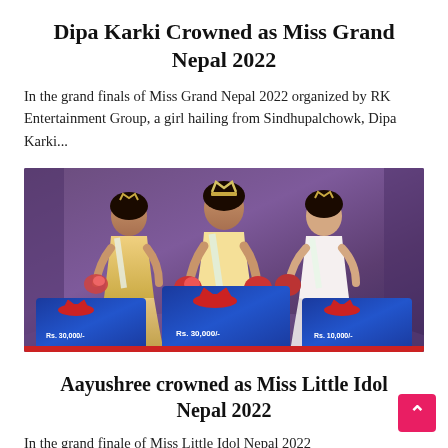Dipa Karki Crowned as Miss Grand Nepal 2022
In the grand finals of Miss Grand Nepal 2022 organized by RK Entertainment Group, a girl hailing from Sindhupalchowk, Dipa Karki...
[Figure (photo): Three women wearing pageant sashes and crowns holding bouquets of flowers and prize cheque cards on a stage with purple background. The prize cards show amounts Rs. 30,000/- and Rs. 10,000/.]
Aayushree crowned as Miss Little Idol Nepal 2022
In the grand finale of Miss Little Idol Nepal 2022